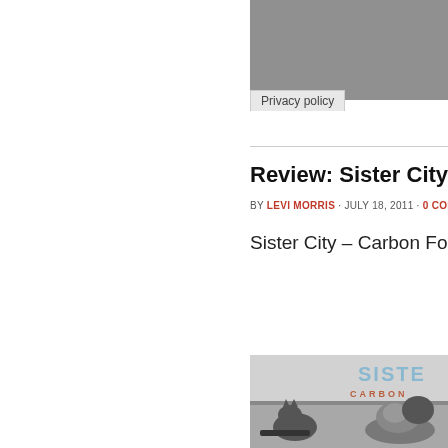Privacy policy
Review: Sister City – Carbo…
BY LEVI MORRIS · JULY 18, 2011 · 0 COMMENTS
Sister City – Carbon Footpr…
[Figure (photo): Black and white album cover for Sister City – Carbon Footprint, showing cats/animals on a floor with the band name in light blue and subtitle in orange-brown text]